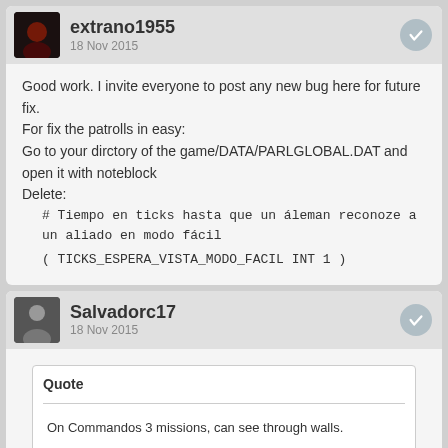extrano1955
18 Nov 2015
Good work. I invite everyone to post any new bug here for future fix.
For fix the patrolls in easy:
Go to your dirctory of the game/DATA/PARLGLOBAL.DAT and open it with noteblock
Delete:
# Tiempo en ticks hasta que un áleman reconoze a un aliado en modo fácil
( TICKS_ESPERA_VISTA_MODO_FACIL INT 1 )
Salvadorc17
18 Nov 2015
Quote
On Commandos 3 missions, can see through walls.